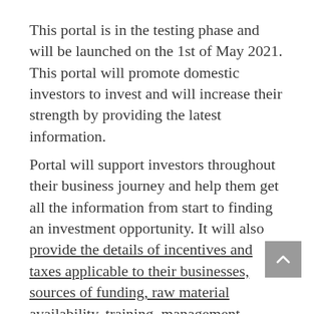This portal is in the testing phase and will be launched on the 1st of May 2021. This portal will promote domestic investors to invest and will increase their strength by providing the latest information.
Portal will support investors throughout their business journey and help them get all the information from start to finding an investment opportunity. It will also provide the details of incentives and taxes applicable to their businesses, sources of funding, raw material availability, training, management requirement, and tender information.